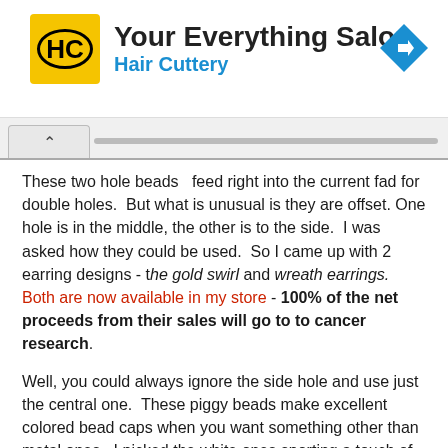[Figure (logo): Hair Cuttery advertisement banner with HC logo in yellow circle, title 'Your Everything Salon' and subtitle 'Hair Cuttery' in blue, with navigation arrow icon top right]
These two hole beads  feed right into the current fad for double holes.  But what is unusual is they are offset. One hole is in the middle, the other is to the side.  I was asked how they could be used.  So I came up with 2 earring designs - the gold swirl and wreath earrings. Both are now available in my store - 100% of the net proceeds from their sales will go to to cancer research.
Well, you could always ignore the side hole and use just the central one.  These piggy beads make excellent colored bead caps when you want something other than metal ones.  I picked the white ones sporting a touch of gold to go with the gold swirl lamp